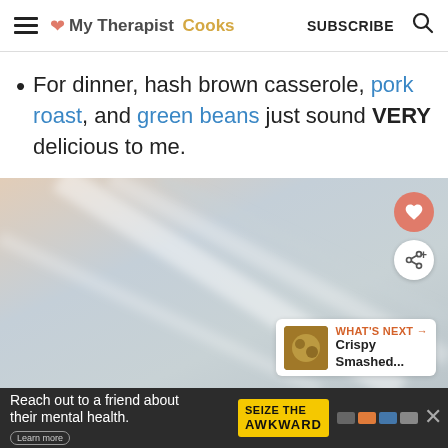My Therapist Cooks — SUBSCRIBE
For dinner, hash brown casserole, pork roast, and green beans just sound VERY delicious to me.
[Figure (photo): Blurred/abstract photo with light beige and grey tones, showing what appears to be food on a surface. Has heart (save) button and share button overlaid, plus a 'WHAT'S NEXT → Crispy Smashed...' thumbnail card in the bottom right corner.]
Reach out to a friend about their mental health. Learn more | SEIZE THE AWKWARD